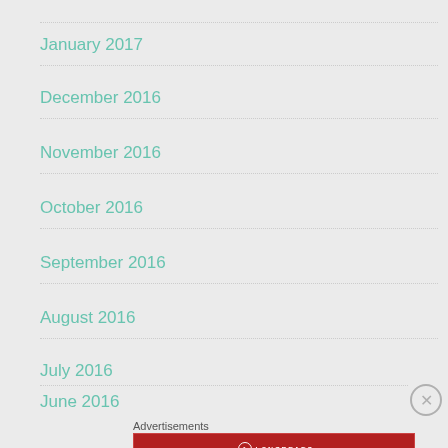January 2017
December 2016
November 2016
October 2016
September 2016
August 2016
July 2016
June 2016
Advertisements
[Figure (other): Longreads advertisement banner: red background with Longreads logo and text 'The best stories on the web — ours, and everyone else's.']